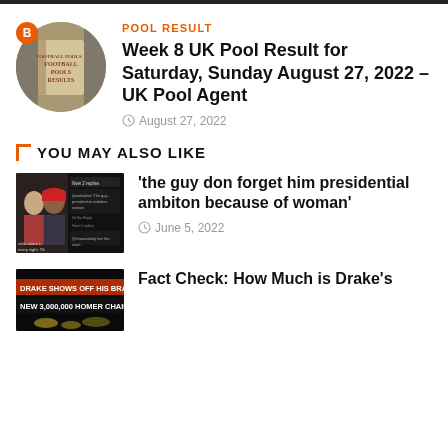[Figure (screenshot): Top dark navigation bar]
[Figure (photo): Circular thumbnail showing Football Pools Results book cover with badge showing letter B]
POOL RESULT
Week 8 UK Pool Result for Saturday, Sunday August 27, 2022 – UK Pool Agent
August 27, 2022
YOU MAY ALSO LIKE
[Figure (photo): Thumbnail showing a man and woman with social media comments overlay]
'the guy don forget him presidential ambiton because of woman'
June 5, 2022
[Figure (photo): Thumbnail showing text: DRAKE SHOWS OFF HIS BRAND NEW 3,000,000 HOMER CHAIN]
Fact Check: How Much is Drake's